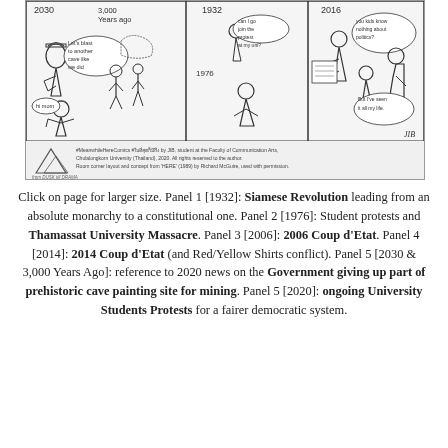[Figure (illustration): A multi-panel comic strip titled MeanwhileHereComics by JIB, student at the Faculty of Communication Arts, Chulalongkorn University (Thailand), 2020. Panels show scenes from Thai political history at years 1932, 1976, 2006, 2014, 2016/2020, and 3000 years ago. Characters discuss political events in speech bubbles. Room corner layout and concept from HERE (1989) by Richard McGuire, used with permission.]
Click on page for larger size. Panel 1 [1932]: Siamese Revolution leading from an absolute monarchy to a constitutional one. Panel 2 [1976]: Student protests and Thamassat University Massacre. Panel 3 [2006]: 2006 Coup d’Etat. Panel 4 [2014]: 2014 Coup d’Etat (and Red/Yellow Shirts conflict). Panel 5 [2030 & 3,000 Years Ago]: reference to 2020 news on the Government giving up part of prehistoric cave painting site for mining. Panel 5 [2020]: ongoing University Students Protests for a fairer democratic system.